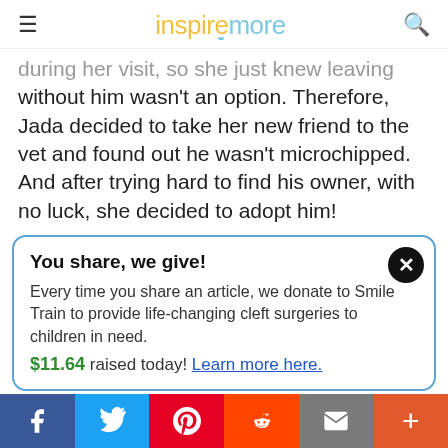inspiremore
during her visit, so she just knew leaving without him wasn't an option. Therefore, Jada decided to take her new friend to the vet and found out he wasn't microchipped. And after trying hard to find his owner, with no luck, she decided to adopt him!
You share, we give! Every time you share an article, we donate to Smile Train to provide life-changing cleft surgeries to children in need. $11.64 raised today! Learn more here.
f  Twitter  Pinterest  Reddit  Mail  +